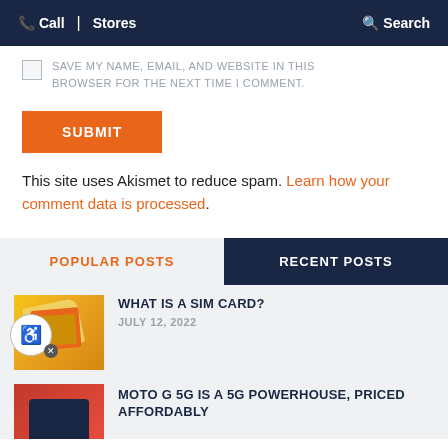Call | Stores   Search
SAVE MY NAME, EMAIL, AND WEBSITE IN THIS BROWSER FOR THE NEXT TIME I COMMENT.
SUBMIT
This site uses Akismet to reduce spam. Learn how your comment data is processed.
POPULAR POSTS
RECENT POSTS
WHAT IS A SIM CARD?
JULY 12, 2022
MOTO G 5G IS A 5G POWERHOUSE, PRICED AFFORDABLY